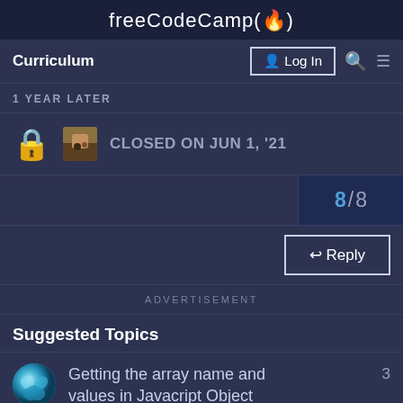freeCodeCamp(🔥)
Curriculum  |  Log In  |  🔍  |  ☰
1 YEAR LATER
🔒 [avatar] CLOSED ON JUN 1, '21
8/8
↩ Reply
ADVERTISEMENT
Suggested Topics
Getting the array name and values in Javacript Object  3